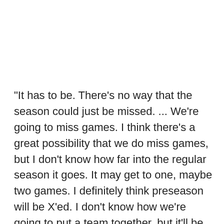"It has to be. There's no way that the season could just be missed. ... We're going to miss games. I think there's a great possibility that we do miss games, but I don't know how far into the regular season it goes. It may get to one, maybe two games. I definitely think preseason will be X'ed. I don't know how we're going to put a team together, but it'll be exciting to see what happens."
Who knows how plugged in Burnett is to what the union is up to, but he doesn't seem to have much doubt that games will be missed next year. Until now,